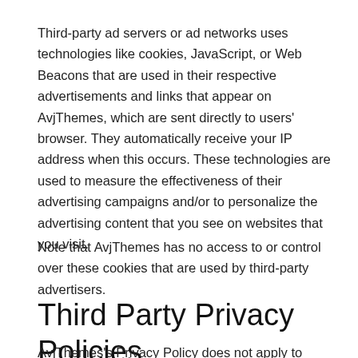Third-party ad servers or ad networks uses technologies like cookies, JavaScript, or Web Beacons that are used in their respective advertisements and links that appear on AvjThemes, which are sent directly to users' browser. They automatically receive your IP address when this occurs. These technologies are used to measure the effectiveness of their advertising campaigns and/or to personalize the advertising content that you see on websites that you visit.
Note that AvjThemes has no access to or control over these cookies that are used by third-party advertisers.
Third Party Privacy Policies
AvjThemes's Privacy Policy does not apply to other advertisers or websites. Thus, we are advising you to consult the respective Privacy Policies of these third-party ad servers for more detailed information. It may include their practices and instructions about